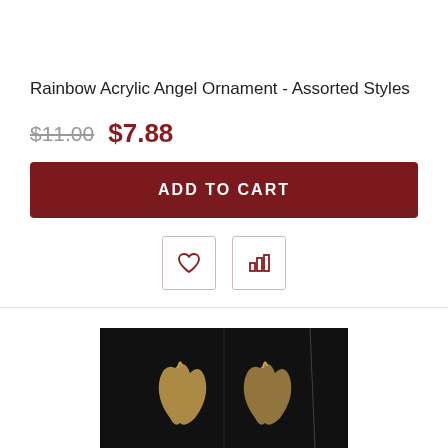Rainbow Acrylic Angel Ornament - Assorted Styles
$11.00  $7.88
ADD TO CART
[Figure (screenshot): Product image showing angel ornaments against a dark background]